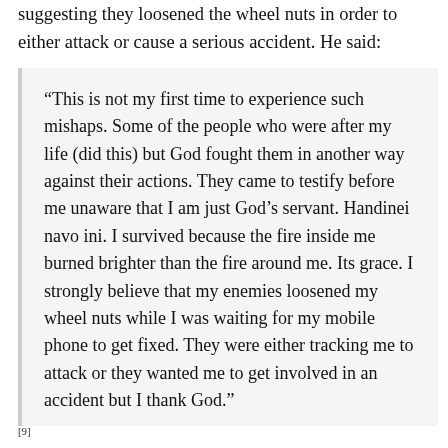suggesting they loosened the wheel nuts in order to either attack or cause a serious accident. He said:
“This is not my first time to experience such mishaps. Some of the people who were after my life (did this) but God fought them in another way against their actions. They came to testify before me unaware that I am just God’s servant. Handinei navo ini. I survived because the fire inside me burned brighter than the fire around me. Its grace. I strongly believe that my enemies loosened my wheel nuts while I was waiting for my mobile phone to get fixed. They were either tracking me to attack or they wanted me to get involved in an accident but I thank God.”
[9]